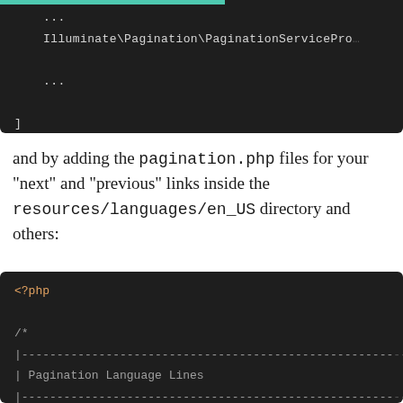[Figure (screenshot): Code block showing PHP array with Illuminate\Pagination\PaginationServicePro... entry and closing bracket, with teal bar at top]
and by adding the pagination.php files for your "next" and "previous" links inside the resources/languages/en_US directory and others:
[Figure (screenshot): Code block showing start of PHP pagination language file with <?php tag and comment block header for Pagination Language Lines]